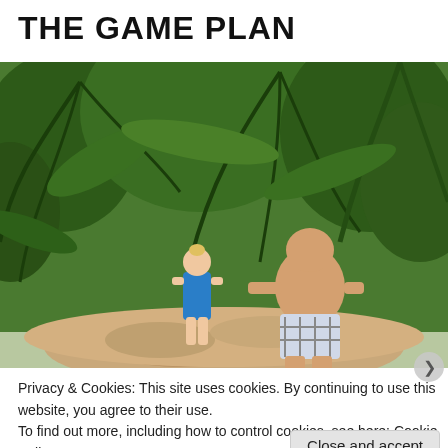THE GAME PLAN
[Figure (photo): A man in plaid swim shorts and a young girl in a blue swimsuit standing on rocks surrounded by tropical palm trees]
Privacy & Cookies: This site uses cookies. By continuing to use this website, you agree to their use.
To find out more, including how to control cookies, see here: Cookie Policy
Close and accept